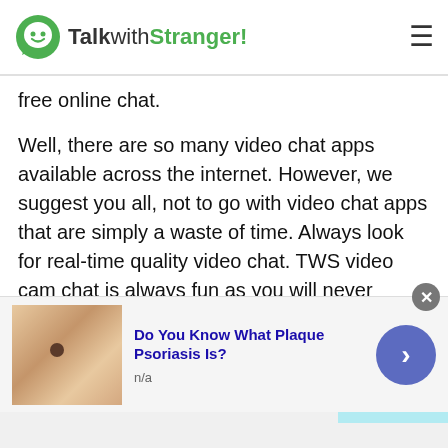TalkwithStranger!
free online chat.
Well, there are so many video chat apps available across the internet. However, we suggest you all, not to go with video chat apps that are simply a waste of time. Always look for real-time quality video chat. TWS video cam chat is always fun as you will never experience any distortion or inconvenience. Yes, your online video calls will not be going to be dropped or crappy. A good quality video with no registration and signup process makes your online experience amazing and of course...
[Figure (screenshot): Advertisement banner: Do You Know What Plaque Psoriasis Is? with skin/mole image and n/a label]
Do You Know What Plaque Psoriasis Is?
n/a